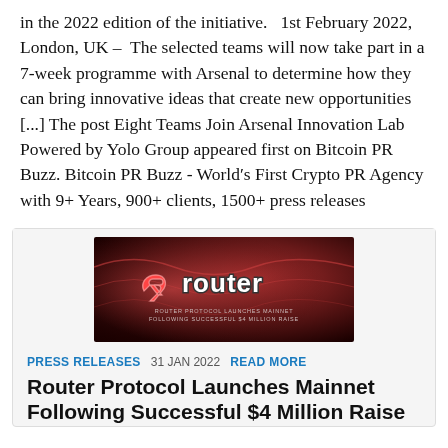in the 2022 edition of the initiative.   1st February 2022, London, UK –  The selected teams will now take part in a 7-week programme with Arsenal to determine how they can bring innovative ideas that create new opportunities [...] The post Eight Teams Join Arsenal Innovation Lab Powered by Yolo Group appeared first on Bitcoin PR Buzz. Bitcoin PR Buzz - World′s First Crypto PR Agency with 9+ Years, 900+ clients, 1500+ press releases
[Figure (logo): Router Protocol logo on dark red background with text 'ROUTER PROTOCOL LAUNCHES MAINNET FOLLOWING SUCCESSFUL $4 MILLION RAISE']
PRESS RELEASES   31 JAN 2022   READ MORE
Router Protocol Launches Mainnet Following Successful $4 Million Raise